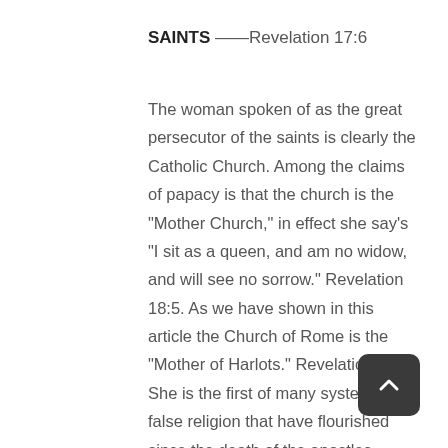SAINTS ——Revelation 17:6
The woman spoken of as the great persecutor of the saints is clearly the Catholic Church. Among the claims of papacy is that the church is the “Mother Church,” in effect she say’s “I sit as a queen, and am no widow, and will see no sorrow.” Revelation 18:5. As we have shown in this article the Church of Rome is the “Mother of Harlots.” Revelation 17:5. She is the first of many systems of false religion that have flourished since the death of the apostles. Considering th… the “Man of Sin” be any other but the